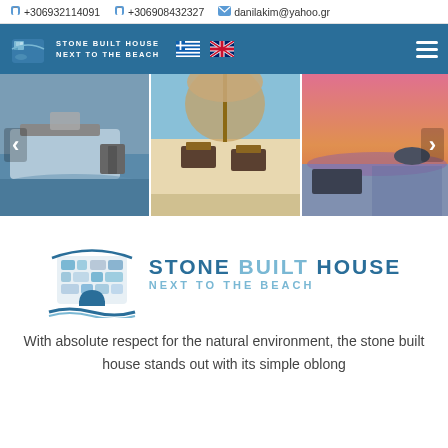+306932114091  +306908432327  danilakim@yahoo.gr
[Figure (screenshot): Navigation bar with Stone Built House logo, Greek and UK flags, and hamburger menu on blue background]
[Figure (photo): Photo carousel with three images: a boat on water, beach chairs under a thatched umbrella, and a sunset over the sea with an island]
[Figure (logo): Stone Built House logo with stylized stone house illustration in blue tones]
With absolute respect for the natural environment, the stone built house stands out with its simple oblong